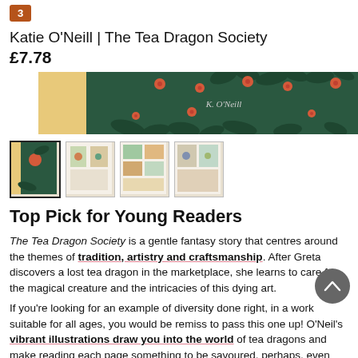3
Katie O'Neill | The Tea Dragon Society
£7.78
[Figure (photo): Book cover of The Tea Dragon Society showing a dark green background with floral/botanical illustration and the author name K. O'Neill]
[Figure (photo): Four thumbnail images of the book and interior pages]
Top Pick for Young Readers
The Tea Dragon Society is a gentle fantasy story that centres around the themes of tradition, artistry and craftsmanship. After Greta discovers a lost tea dragon in the marketplace, she learns to care for the magical creature and the intricacies of this dying art.
If you're looking for an example of diversity done right, in a work suitable for all ages, you would be remiss to pass this one up! O'Neil's vibrant illustrations draw you into the world of tea dragons and make reading each page something to be savoured, perhaps, even alongside a cup of tea?
| Genre |  |
| --- | --- |
| Genre | Fantasy |